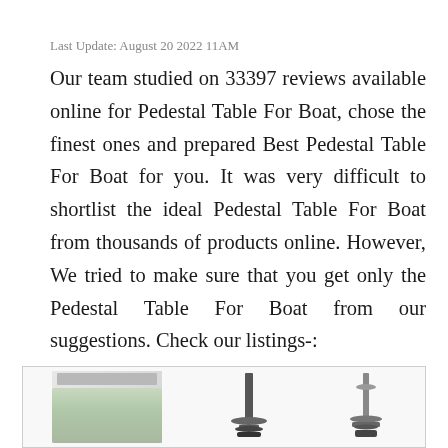Last Update: August 20 2022 11AM
Our team studied on 33397 reviews available online for Pedestal Table For Boat, chose the finest ones and prepared Best Pedestal Table For Boat for you. It was very difficult to shortlist the ideal Pedestal Table For Boat from thousands of products online. However, We tried to make sure that you get only the Pedestal Table For Boat from our suggestions. Check our listings-:
[Figure (photo): Three product images showing pedestal table for boat options: a food container/storage product on the left, and two pedestal table stands in the center and right]